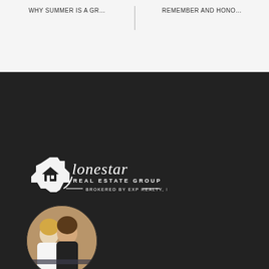WHY SUMMER IS A GR…  REMEMBER AND HONO…
[Figure (logo): Lonestar Real Estate Group logo — white Texas state silhouette with house icon and script/print text. Brokered by EXP Realty, LLC.]
[Figure (photo): Circular professional headshot of two women in dark blazers, posed at a table, real estate agents.]
Your Preferred Dallas Fort Worth Real Estate Team. Helping you find your “place” to call home.